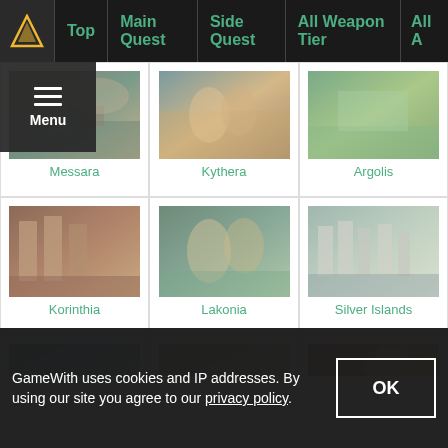Top | Main Quest | Side Quest | All Weapon Tier | All A
[Figure (screenshot): Messara region image from Assassin's Creed Odyssey]
Messara
[Figure (screenshot): Kythera region image from Assassin's Creed Odyssey]
Kythera
[Figure (screenshot): Argolis region image from Assassin's Creed Odyssey]
Argolis
[Figure (screenshot): Korinthia region image from Assassin's Creed Odyssey]
Korinthia
[Figure (screenshot): Lakonia region image from Assassin's Creed Odyssey]
Lakonia
[Figure (screenshot): Silver Islands region image from Assassin's Creed Odyssey]
Silver Islands
[Figure (screenshot): Obsidian Islands region image from Assassin's Creed Odyssey]
Obsidian Islands
[Figure (screenshot): Abantis Islands region image from Assassin's Creed Odyssey]
Abantis Islands
[Figure (screenshot): Petrified Islands region image from Assassin's Creed Odyssey]
Petrified Islands
[Figure (screenshot): Pirate Island region image from Assassin's Creed Odyssey]
Pirate Island
[Figure (screenshot): Naxos Islands region image from Assassin's Creed Odyssey]
Naxos Islands
[Figure (screenshot): Volcanic Islands region image from Assassin's Creed Odyssey]
Volcanic Islands
[Figure (screenshot): Bottom-left region image (partial)]
[Figure (screenshot): Bottom-center region image (partial)]
GameWith uses cookies and IP addresses. By using our site you agree to our privacy policy.